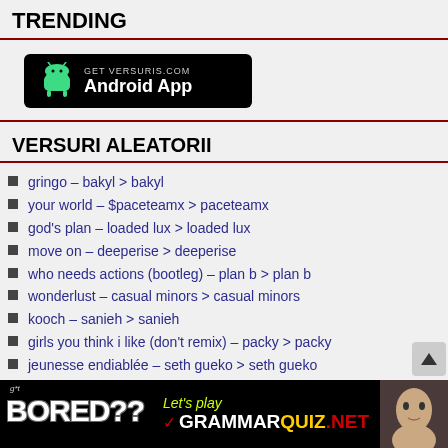TRENDING
[Figure (other): Android app banner: GET VERSURIS.COM Android App on black rounded rectangle with green Android robot icon]
VERSURI ALEATORII
gringo – bakyl  > bakyl
your world – $paceteamx  > paceteamx
god's plan – loaded lux  > loaded lux
move on – deeperise  > deeperise
who needs actions (bootleg) – plan b  > plan b
wonderlust – casual minors  > casual minors
kooch – sanieh  > sanieh
girls you think i like (don't remix) – packy  > packy
jeunesse endiablée – seth gueko  > seth gueko
déjalos bailar – delux (mexico)  > delux mexico
[Figure (other): Bottom banner ad: got BORED?? Let's play GRAMMARQUIZ.NET with woman's face on right]